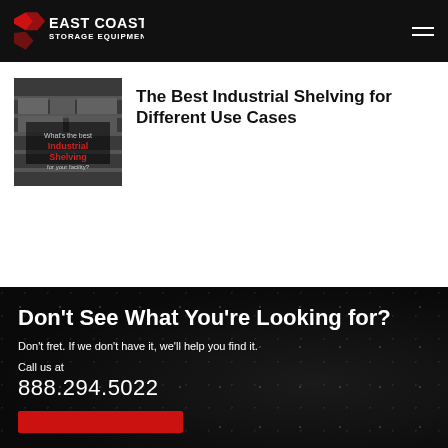East Coast Storage Equipment Co.
[Figure (photo): Thumbnail image of industrial shelving with text overlay reading 'What's the best Industrial Shelving for your facility?']
The Best Industrial Shelving for Different Use Cases
Don’t See What You’re Looking for?
Don't fret. If we don't have it, we'll help you find it.
Call us at
888.294.5022